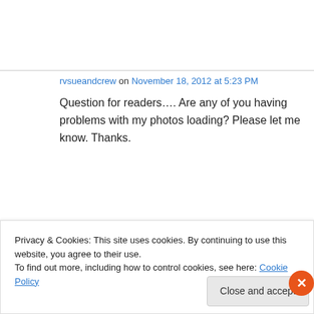rvsueandcrew on November 18, 2012 at 5:23 PM
Question for readers…. Are any of you having problems with my photos loading? Please let me know. Thanks.
Chuck on November 18, 2012 at 8:31 PM
Privacy & Cookies: This site uses cookies. By continuing to use this website, you agree to their use.
To find out more, including how to control cookies, see here: Cookie Policy
Close and accept